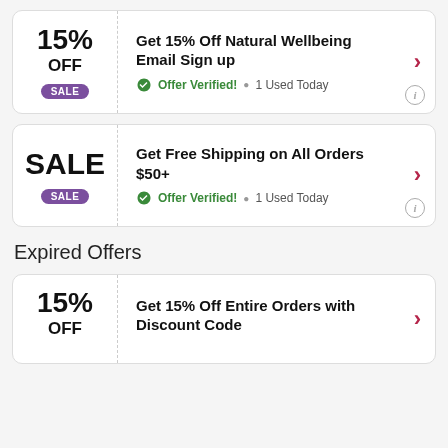15% OFF SALE — Get 15% Off Natural Wellbeing Email Sign up — Offer Verified! • 1 Used Today
SALE SALE — Get Free Shipping on All Orders $50+ — Offer Verified! • 1 Used Today
Expired Offers
15% OFF — Get 15% Off Entire Orders with Discount Code